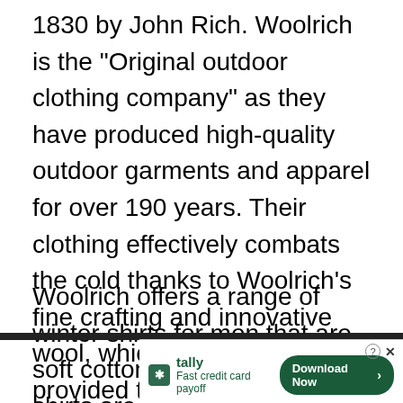1830 by John Rich. Woolrich is the "Original outdoor clothing company" as they have produced high-quality outdoor garments and apparel for over 190 years. Their clothing effectively combats the cold thanks to Woolrich's fine crafting and innovative wool, which has also been provided to US soldiers as they offer premium insulation.
Woolrich offers a range of winter shirts for men that are soft cotton. These winter shirts are super functional as they come with multiple pockets and are super durable, even suitable to be worn as a shirt jacket. These flannels come in different styles and co...
[Figure (screenshot): Tally advertisement banner - 'Fast credit card payoff' with a 'Download Now' button in dark green, with close (X) and help (?) icons.]